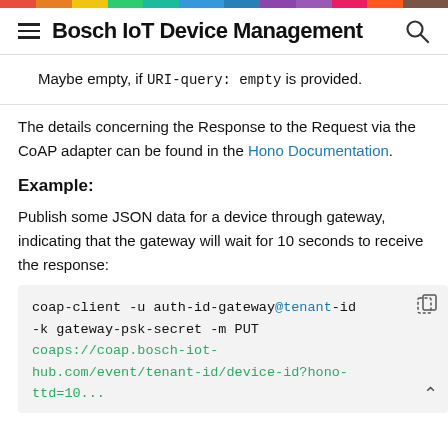Bosch IoT Device Management
Maybe empty, if URI-query: empty is provided.
The details concerning the Response to the Request via the CoAP adapter can be found in the Hono Documentation.
Example:
Publish some JSON data for a device through gateway, indicating that the gateway will wait for 10 seconds to receive the response:
[Figure (screenshot): Code block showing: coap-client -u auth-id-gateway@tenant-id -k gateway-psk-secret -m PUT coaps://coap.bosch-iot-hub.com/event/tenant-id/device-id?hono-ttd=10...]